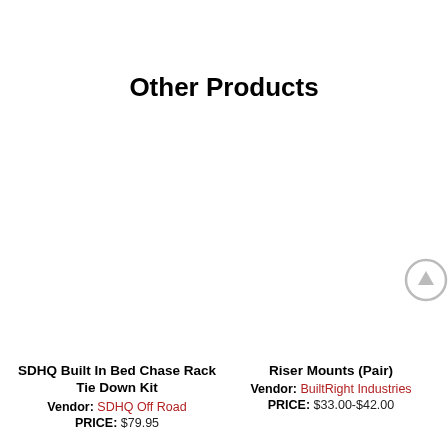Other Products
SDHQ Built In Bed Chase Rack Tie Down Kit
Vendor: SDHQ Off Road
PRICE: $79.95
Riser Mounts (Pair)
Vendor: BuiltRight Industries
PRICE: $33.00-$42.00